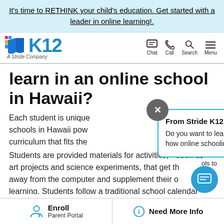It's time to RETHINK your child's education. Get started with a leader in online learning!.
[Figure (logo): K12 A Stride Company logo with blue icon and blue K12 text]
learn in an online school in Hawaii?
[Figure (infographic): Popup dialog from Stride K12: 'Do you want to learn more about how online schooling works?' with X close button]
Each student is unique schools in Hawaii powe curriculum that fits the Students are provided materials for activities,** such as art projects and science experiments, that get th away from the computer and supplement their o learning. Students follow a traditional school calendar
Enroll Parent Portal | Need More Info | ols to